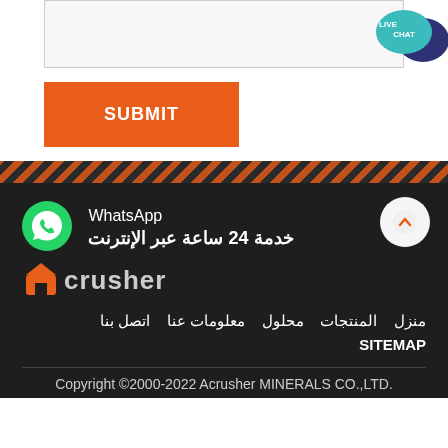[Figure (other): Empty text area input box with light gray background and border]
[Figure (other): Live Chat badge with teal speech bubble and dark blue chat bubble icons, text 'LIVE CHAT']
SUBMIT
[Figure (other): Diagonal stripe divider in dark brown and orange]
[Figure (logo): WhatsApp green circle icon with phone handset]
WhatsApp
خدمة 24 ساعة عبر الإنترنت
[Figure (logo): Acrusher logo: orange house/crusher icon followed by 'crusher' in gray text]
منزل  المنتجات  محلول  معلومات عنا  اتصل بنا
SITEMAP
Copyright ©2000-2022 Acrusher MINERALS CO.,LTD.